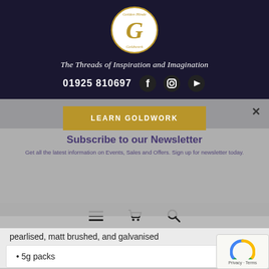[Figure (logo): Golden Hinde Goldwork circular logo with stylized G in gold on white circle with dark navy background]
The Threads of Inspiration and Imagination
01925 810697
[Figure (screenshot): Social media icons: Facebook, Instagram, YouTube]
[Figure (screenshot): LEARN GOLDWORK button in gold]
Subscribe to our Newsletter
Get all the latest information on Events, Sales and Offers. Sign up for newsletter today.
[Figure (screenshot): Navigation bar with menu, cart, and search icons]
pearlised, matt brushed, and galvanised
5g packs
Opt in to receive news and updates.
[Figure (screenshot): SUBSCRIBE! button]
[Figure (screenshot): reCAPTCHA widget - Privacy Terms]
Related products